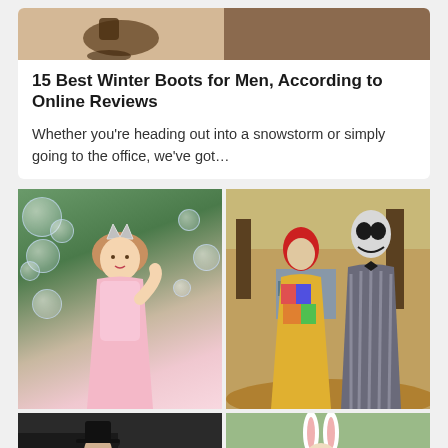[Figure (photo): Article card with top image of winter boots on tan and brown background]
15 Best Winter Boots for Men, According to Online Reviews
Whether you're heading out into a snowstorm or simply going to the office, we've got…
[Figure (photo): Woman dressed as Glinda the Good Witch in pink with crown and bubbles]
[Figure (photo): Couple dressed as Sally and Jack Skellington from Nightmare Before Christmas]
[Figure (photo): Person in dark costume with hat, partially visible]
[Figure (photo): Another Halloween costume photo, partially visible]